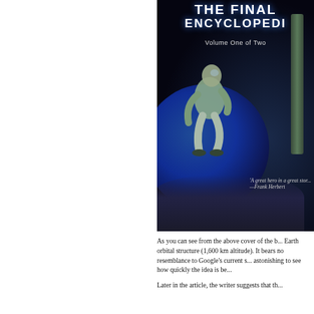[Figure (illustration): Book cover of 'The Final Encyclopedia, Volume One of Two' featuring a crouching figure in a spacesuit on a rocky surface in space with Earth visible in the background and a large pole/structure. Quote from Frank Herbert: 'A great hero in a great story']
As you can see from the above cover of the book, it depicts an Earth orbital structure (1,600 km altitude). It bears no resemblance to Google's current s... astonishing to see how quickly the idea is be...
Later in the article, the writer suggests that th...